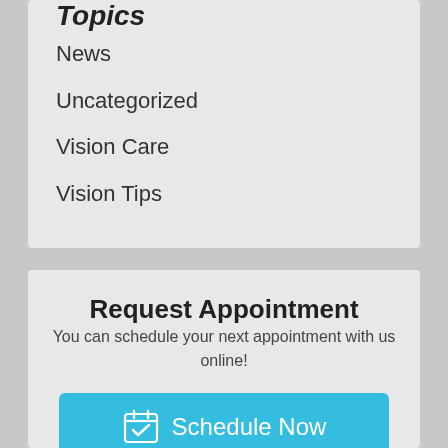Topics
News
Uncategorized
Vision Care
Vision Tips
Request Appointment
You can schedule your next appointment with us online!
Schedule Now
(708) 928-8271